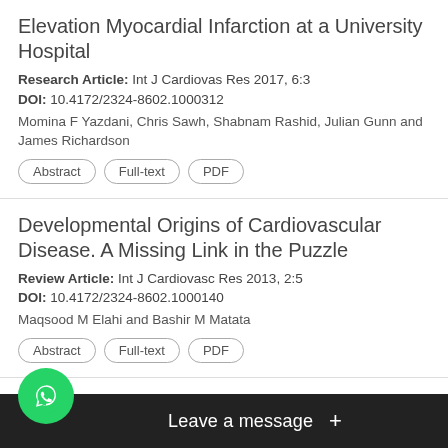Elevation Myocardial Infarction at a University Hospital
Research Article: Int J Cardiovas Res 2017, 6:3
DOI: 10.4172/2324-8602.1000312
Momina F Yazdani, Chris Sawh, Shabnam Rashid, Julian Gunn and James Richardson
Abstract | Full-text | PDF
Developmental Origins of Cardiovascular Disease. A Missing Link in the Puzzle
Review Article: Int J Cardiovasc Res 2013, 2:5
DOI: 10.4172/2324-8602.1000140
Maqsood M Elahi and Bashir M Matata
Abstract | Full-text | PDF
Complex Vascular Involvement in Fabry Disease: Unusual Case of Combined Critical Lower ... in Thrombosis
Case ... 16-50
DOI ...